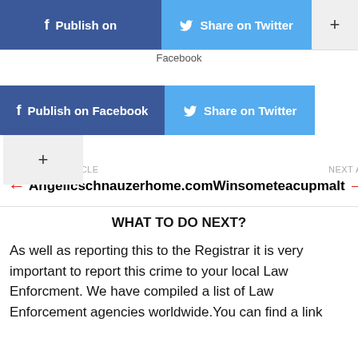[Figure (screenshot): Social sharing buttons: Publish on Facebook (dark blue), Share on Twitter (light blue), plus button (gray) in top row. Second row shows Facebook label, Publish on Facebook button, Share on Twitter button, and plus button below.]
PREVIOUS ARTICLE
← Angelicschnauzerhome.com
NEXT ARTICLE
Winsometeacupmaltese.c →
WHAT TO DO NEXT?
As well as reporting this to the Registrar it is very important to report this crime to your local Law Enforcment. We have compiled a list of Law Enforcement agencies worldwide.You can find a link